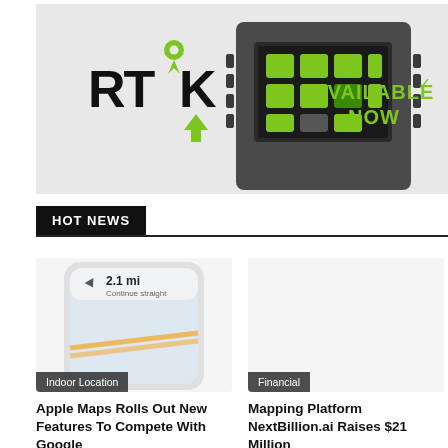[Figure (illustration): RTK brand advertisement banner showing a rugged electronic device (field instrument) with a green-lit touchscreen display, RTK logo in black and green on the left, and 'AVAILABLE NOW' text in green on the right. Background is light gray.]
HOT NEWS
[Figure (screenshot): Smartphone screenshot showing a navigation/maps app with a turn direction arrow and '2.1 mi' distance displayed, with a blurred map in the background. Image is slightly faded/light.]
Indoor Location
Apple Maps Rolls Out New Features To Compete With Google
[Figure (photo): Placeholder/blank image area for the Financial news article about NextBillion.ai]
Financial
Mapping Platform NextBillion.ai Raises $21 Million